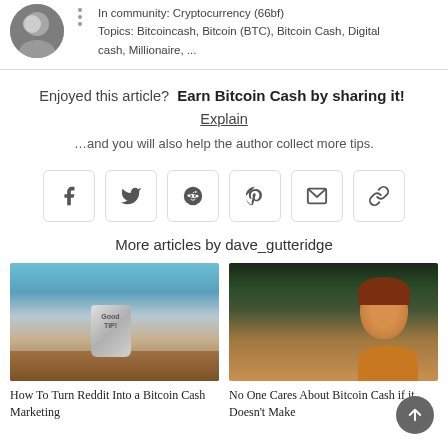In community: Cryptocurrency (66bf)
Topics: Bitcoincash, Bitcoin (BTC), Bitcoin Cash, Digital cash, Millionaire, ...
Enjoyed this article?  Earn Bitcoin Cash by sharing it!  Explain
…and you will also help the author collect more tips.
[Figure (infographic): Row of 6 social share buttons: Facebook, Twitter, Reddit, Pinterest, Email, Link]
More articles by dave_gutteridge
[Figure (photo): Photo of a tips jar mug on a cafe table]
How To Turn Reddit Into a Bitcoin Cash Marketing
[Figure (photo): Photo of a young woman sitting in a cafe looking bored]
No One Cares About Bitcoin Cash if it Doesn't Make